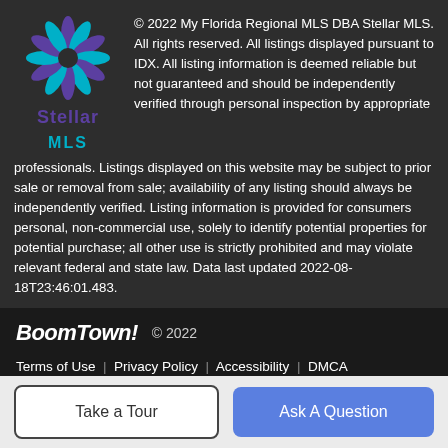[Figure (logo): Stellar MLS logo — snowflake/star shape in purple and teal with text 'Stellar MLS' below]
© 2022 My Florida Regional MLS DBA Stellar MLS. All rights reserved. All listings displayed pursuant to IDX. All listing information is deemed reliable but not guaranteed and should be independently verified through personal inspection by appropriate professionals. Listings displayed on this website may be subject to prior sale or removal from sale; availability of any listing should always be independently verified. Listing information is provided for consumers personal, non-commercial use, solely to identify potential properties for potential purchase; all other use is strictly prohibited and may violate relevant federal and state law. Data last updated 2022-08-18T23:46:01.483.
[Figure (logo): BoomTown! logo in bold italic white text]
© 2022
Terms of Use | Privacy Policy | Accessibility | DMCA | Listings Sitemap
Take a Tour
Ask A Question